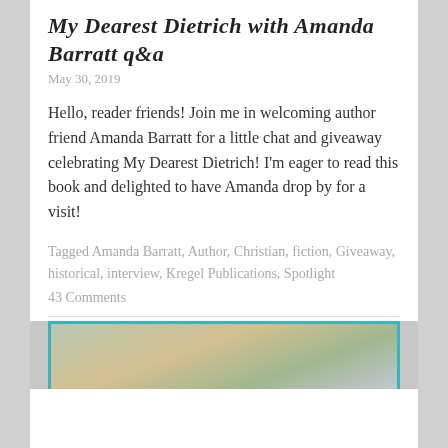My Dearest Dietrich with Amanda Barratt q&a
May 30, 2019
Hello, reader friends! Join me in welcoming author friend Amanda Barratt for a little chat and giveaway celebrating My Dearest Dietrich! I'm eager to read this book and delighted to have Amanda drop by for a visit!
Tagged Amanda Barratt, Author, Christian, fiction, Giveaway, historical, interview, Kregel Publications, Spotlight
43 Comments
[Figure (photo): Partial photo of a person with reddish hair outdoors, cropped at bottom of page]